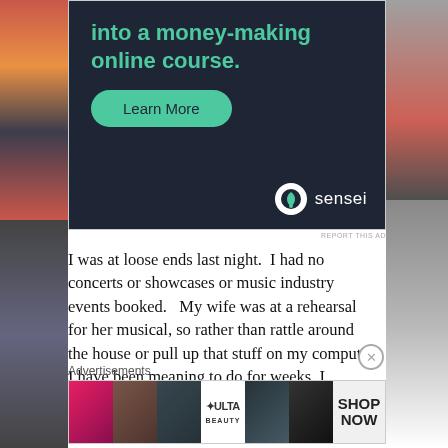[Figure (screenshot): Advertisement banner with dark background showing text 'into a money-making online course.' with a teal Learn More button and Sensei logo]
I was at loose ends last night.  I had no concerts or showcases or music industry events booked.   My wife was at a rehearsal for her musical, so rather than rattle around the house or pull up that stuff on my computer I have been meaning to do for weeks, I decided to go to my neighborhood bar.  Of course, this being LA,
Advertisements
[Figure (screenshot): Ulta Beauty advertisement with makeup imagery and SHOP NOW call to action]